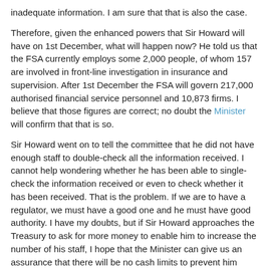inadequate information. I am sure that that is also the case.
Therefore, given the enhanced powers that Sir Howard will have on 1st December, what will happen now? He told us that the FSA currently employs some 2,000 people, of whom 157 are involved in front-line investigation in insurance and supervision. After 1st December the FSA will govern 217,000 authorised financial service personnel and 10,873 firms. I believe that those figures are correct; no doubt the Minister will confirm that that is so.
Sir Howard went on to tell the committee that he did not have enough staff to double-check all the information received. I cannot help wondering whether he has been able to single-check the information received or even to check whether it has been received. That is the problem. If we are to have a regulator, we must have a good one and he must have good authority. I have my doubts, but if Sir Howard approaches the Treasury to ask for more money to enable him to increase the number of his staff, I hope that the Minister can give us an assurance that there will be no cash limits to prevent him having that money.
Finally, I turn to the crucial question of the fourth so-called "test" of the five that the Chancellor has said must be met before we enter the euro. There is an important point to be made about that. The fourth test is: